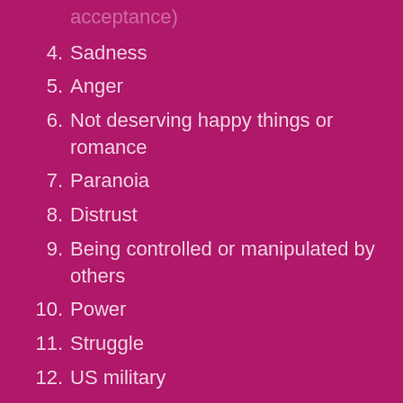acceptance)
4. Sadness
5. Anger
6. Not deserving happy things or romance
7. Paranoia
8. Distrust
9. Being controlled or manipulated by others
10. Power
11. Struggle
12. US military
13. Weapons
14. “Monsters” (what makes someone a monster? Could definitely overlap well with Loki!)
15. Worth
16. Running
17. Danger
18. “Home” (what is a home? What makes it a